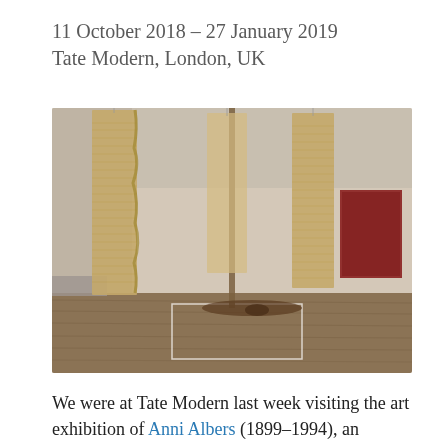11 October 2018 – 27 January 2019
Tate Modern, London, UK
[Figure (photo): Interior of a gallery room at Tate Modern showing hanging textile works by Anni Albers. Two tall woven jute/linen panels hang vertically from the ceiling. A red/burgundy rectangular textile is mounted on the white wall in the background. A figure lies on the wooden floor beneath the panels. The room has warm wooden flooring with white line markings.]
We were at Tate Modern last week visiting the art exhibition of Anni Albers (1899–1994), an